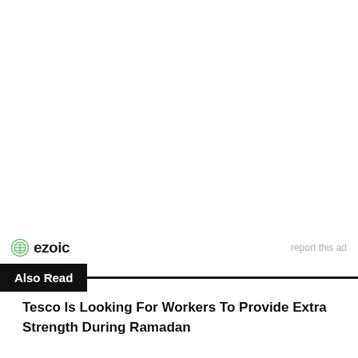[Figure (logo): Ezoic logo with green circular icon and bold text 'ezoic', with 'report this ad' link to the right]
Also Read
Tesco Is Looking For Workers To Provide Extra Strength During Ramadan
9 Unique Spas in KL & Selangor To Pamper Your Mum...